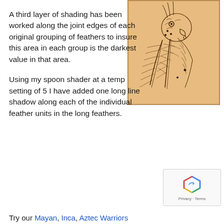A third layer of shading has been worked along the joint edges of each original grouping of feathers to insure this area in each group is the darkest value in that area.

Using my spoon shader at a temp setting of 5 I have added one long line shadow along each of the individual feather units in the long feathers.
[Figure (illustration): A detailed pencil/burn drawing of a bird (eagle or parrot) head and long feathers on a tan/sepia background, showing intricate feather detail with shading.]
Try our Mayan, Inca, Aztec Warriors